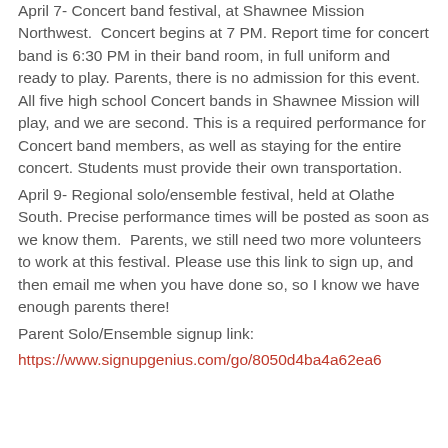April 7- Concert band festival, at Shawnee Mission Northwest.  Concert begins at 7 PM. Report time for concert band is 6:30 PM in their band room, in full uniform and ready to play. Parents, there is no admission for this event. All five high school Concert bands in Shawnee Mission will play, and we are second. This is a required performance for Concert band members, as well as staying for the entire concert. Students must provide their own transportation.
April 9- Regional solo/ensemble festival, held at Olathe South. Precise performance times will be posted as soon as we know them.  Parents, we still need two more volunteers to work at this festival. Please use this link to sign up, and then email me when you have done so, so I know we have enough parents there!
Parent Solo/Ensemble signup link:
https://www.signupgenius.com/go/8050d4ba4a62ea6